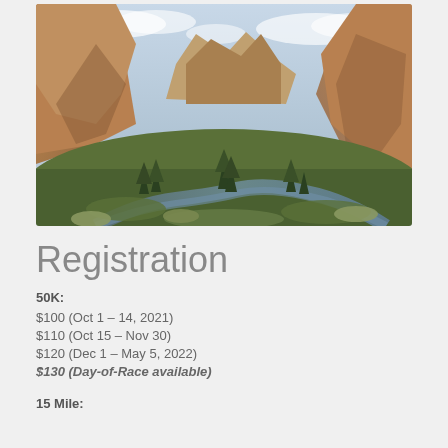[Figure (photo): Aerial/elevated view of a rocky canyon landscape with tall orange-brown rock formations, evergreen trees in the valley, a winding river, and a partly cloudy blue sky.]
Registration
50K:
$100 (Oct 1 – 14, 2021)
$110 (Oct 15 – Nov 30)
$120 (Dec 1 – May 5, 2022)
$130 (Day-of-Race available)
15 Mile: